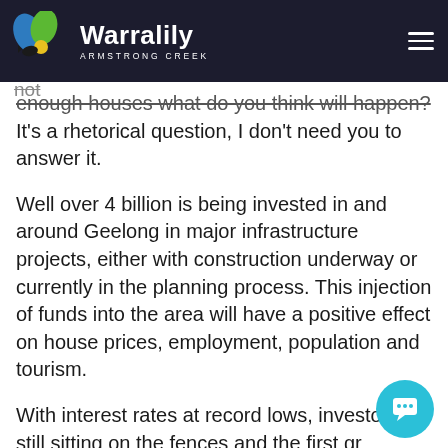Warralily Armstrong Creek [logo/navigation header]
What does this mean for house pricing? Well, it's simple economics, supply and demand. If you have a growing number of people and not enough houses what do you think will happen? It's a rhetorical question, I don't need you to answer it.
Well over 4 billion is being invested in and around Geelong in major infrastructure projects, either with construction underway or currently in the planning process. This injection of funds into the area will have a positive effect on house prices, employment, population and tourism.
With interest rates at record lows, investors still sitting on the fences and the first green shoots of the market starting to rebound in its correction over the last twelve months, it is